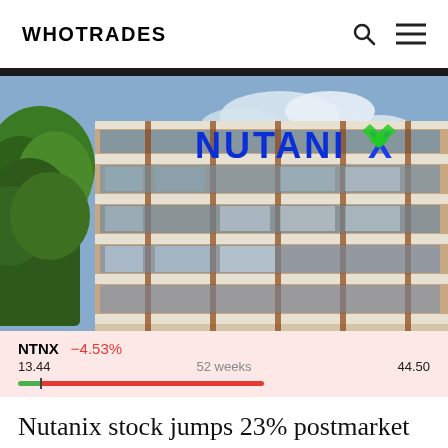WHOTRADES
[Figure (photo): Photograph of the Nutanix corporate office building with large NUTANIX logo letters on the facade, glass windows reflecting sky, trees in foreground]
NTNX  -4.53%
13.44    52 weeks  44.50
Nutanix stock jumps 23% postmarket on